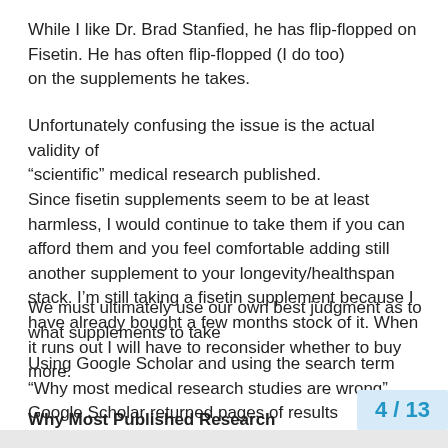While I like Dr. Brad Stanfied, he has flip-flopped on Fisetin. He has often flip-flopped (I do too)
on the supplements he takes.
Unfortunately confusing the issue is the actual validity of “scientific” medical research published.
Since fisetin supplements seem to be at least harmless, I would continue to take them if you can afford them and you feel comfortable adding still another supplement to your longevity/healthspan stack. I’m still taking a fisetin supplement because I have already bought a few months stock of it. When it runs out I will have to reconsider whether to buy more.
We must ultimately use our own best judgment as to what supplements to take
Using Google Scholar and using the search term “Why most medical research studies are wrong” Google Scholar returned pages of results questioning the results of medical studies.
Why Most Published Research Findings
4 / 13